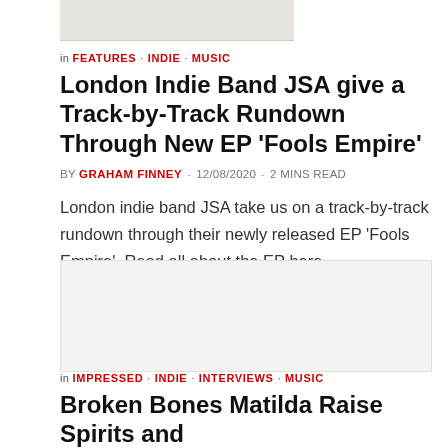[Figure (photo): Partial top image, cropped at page top, shows a light-colored fabric or garment]
in FEATURES · INDIE · MUSIC
London Indie Band JSA give a Track-by-Track Rundown Through New EP 'Fools Empire'
BY GRAHAM FINNEY - 12/08/2020 - 2 MINS READ
London indie band JSA take us on a track-by-track rundown through their newly released EP 'Fools Empire'. Read all about the EP here.
[Figure (photo): Gray placeholder box for second article image]
in IMPRESSED · INDIE · INTERVIEWS · MUSIC
Broken Bones Matilda Raise Spirits and